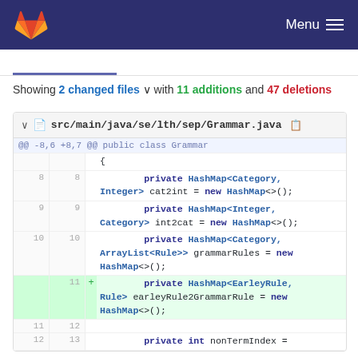GitLab — Menu
Showing 2 changed files with 11 additions and 47 deletions
src/main/java/se/lth/sep/Grammar.java diff — @@ -8,6 +8,7 @@ public class Grammar { private HashMap<Category, Integer> cat2int = new HashMap<>(); private HashMap<Integer, Category> int2cat = new HashMap<>(); private HashMap<Category, ArrayList<Rule>> grammarRules = new HashMap<>(); + private HashMap<EarleyRule, Rule> earleyRule2GrammarRule = new HashMap<>(); (line 11→12, 12→13) private int nonTermIndex =